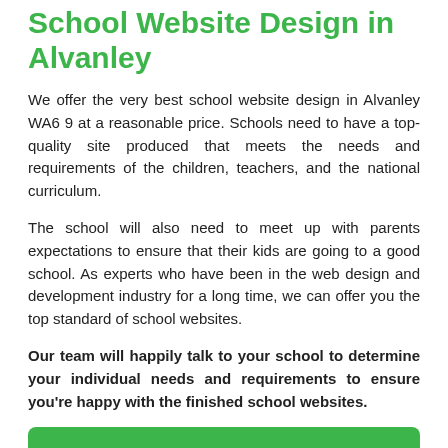School Website Design in Alvanley
We offer the very best school website design in Alvanley WA6 9 at a reasonable price. Schools need to have a top-quality site produced that meets the needs and requirements of the children, teachers, and the national curriculum.
The school will also need to meet up with parents expectations to ensure that their kids are going to a good school. As experts who have been in the web design and development industry for a long time, we can offer you the top standard of school websites.
Our team will happily talk to your school to determine your individual needs and requirements to ensure you're happy with the finished school websites.
[Figure (other): Green button with white text reading ENQUIRE TODAY FOR BEST RATES]
Our main aim is to ensure you get what you need. We can alter